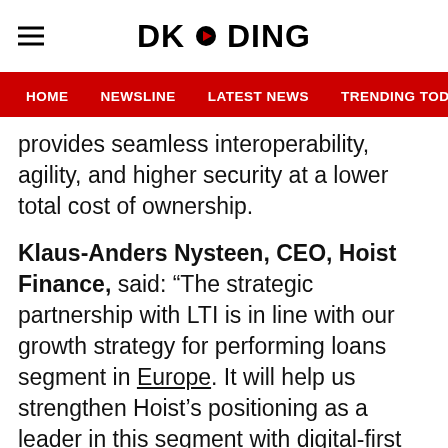DKODING
HOME  NEWSLINE  LATEST NEWS  TRENDING TODAY  ENT
provides seamless interoperability, agility, and higher security at a lower total cost of ownership.
Klaus-Anders Nysteen, CEO, Hoist Finance, said: “The strategic partnership with LTI is in line with our growth strategy for performing loans segment in Europe. It will help us strengthen Hoist’s positioning as a leader in this segment with digital-first strategies. LTI has been a strategic partner for Hoist since 2019 and has supported multiple transformation initiatives, spanning workplace transformation, infrastructure